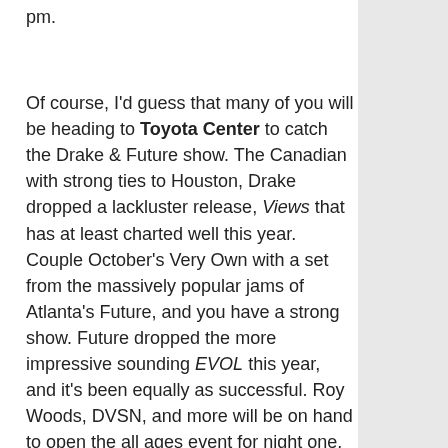pm.
Of course, I'd guess that many of you will be heading to Toyota Center to catch the Drake & Future show.  The Canadian with strong ties to Houston, Drake dropped a lackluster release, Views that has at least charted well this year.  Couple October's Very Own with a set from the massively popular jams of Atlanta's Future, and you have a strong show.  Future dropped the more impressive sounding EVOL this year, and it's been equally as successful.  Roy Woods, DVSN, and more will be on hand to open the all ages event for night one.  The doors are at 6 pm and the tickets are between $49.50 and $179.50.
Mucky Duck will host the country rock